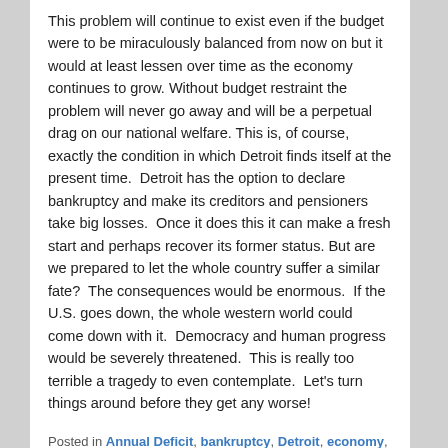This problem will continue to exist even if the budget were to be miraculously balanced from now on but it would at least lessen over time as the economy continues to grow. Without budget restraint the problem will never go away and will be a perpetual drag on our national welfare. This is, of course, exactly the condition in which Detroit finds itself at the present time. Detroit has the option to declare bankruptcy and make its creditors and pensioners take big losses. Once it does this it can make a fresh start and perhaps recover its former status. But are we prepared to let the whole country suffer a similar fate? The consequences would be enormous. If the U.S. goes down, the whole western world could come down with it. Democracy and human progress would be severely threatened. This is really too terrible a tragedy to even contemplate. Let's turn things around before they get any worse!
Posted in Annual Deficit, bankruptcy, Detroit, economy, fiscal policy, Federal Reserve, federal spending, Is America in Decline?, Long Term Debt, monetary policy, New York Times, pro-growth economic policy, quantitative